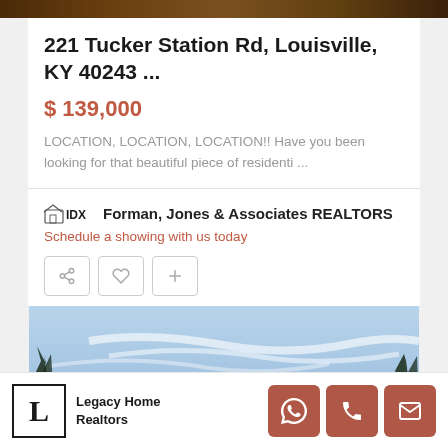[Figure (photo): Dark brown top strip, appears to be a property photo cropped at the top]
221 Tucker Station Rd, Louisville, KY 40243 ...
$ 139,000
LOCATION, LOCATION, LOCATION!! Have you been looking for that beautiful piece of residenti ...
Forman, Jones & Associates REALTORS
Schedule a showing with us today
[Figure (photo): Sky with clouds and bare trees, property listing photo with Land and Active tags]
Legacy Home Realtors